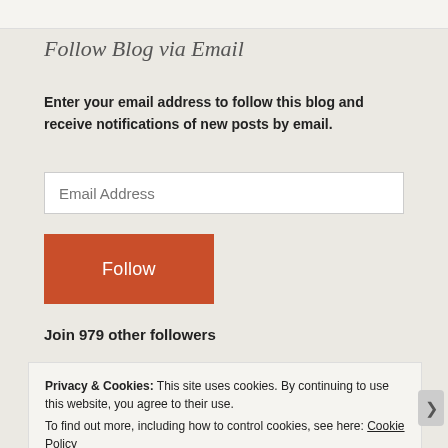Follow Blog via Email
Enter your email address to follow this blog and receive notifications of new posts by email.
[Figure (screenshot): Email address input field with placeholder text 'Email Address']
[Figure (screenshot): Orange 'Follow' button]
Join 979 other followers
Privacy & Cookies: This site uses cookies. By continuing to use this website, you agree to their use. To find out more, including how to control cookies, see here: Cookie Policy
[Figure (screenshot): Close and accept button in cookie banner]